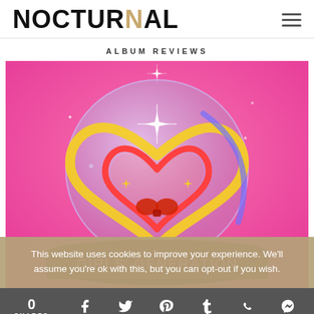NOCTURNAL (with hamburger menu icon)
ALBUM REVIEWS
[Figure (photo): Girls' Generation album cover featuring a glowing neon heart/apple structure on a pink background with 'GIRLS' GENERATION' text on the base]
This website uses cookies to improve your experience. We'll assume you're ok with this, but you can opt-out if you wish.
0 SHARES | Facebook | Twitter | Pinterest | Tumblr | WhatsApp | Messenger